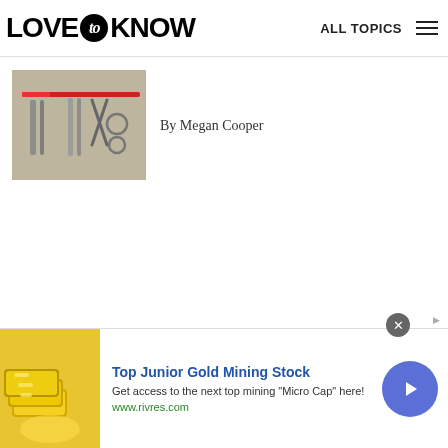LOVE to KNOW  ALL TOPICS
[Figure (photo): Photo of surgical/medical tools laid out on a surface, including scissors, clamps, and rings]
By Megan Cooper
[Figure (photo): Advertisement image showing gold bars/bullion]
Top Junior Gold Mining Stock
Get access to the next top mining "Micro Cap" here!
www.rivres.com